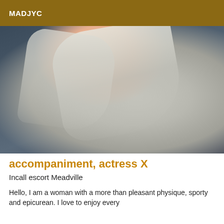MADJYC
[Figure (photo): A person with long platinum blonde hair wearing a grey knit sweater, photographed from above against a dark background.]
accompaniment, actress X
Incall escort Meadville
Hello, I am a woman with a more than pleasant physique, sporty and epicurean. I love to enjoy every